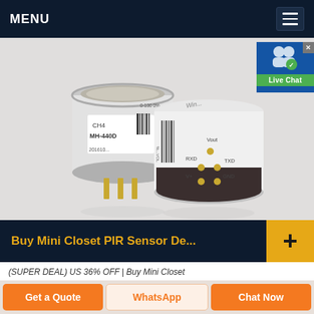MENU
[Figure (photo): Two white cylindrical gas sensor modules (CH4 MH-440D) with gold pins, one showing front label with barcode and one showing back with pin labels: Vout, RXD, TXD, V+, GND, on a light grey background.]
[Figure (infographic): Live Chat badge with user icon, checkmark and green Live Chat label in top right corner.]
Buy Mini Closet PIR Sensor De...
(SUPER DEAL) US 36% OFF | Buy Mini Closet
Get a Quote
WhatsApp
Chat Now